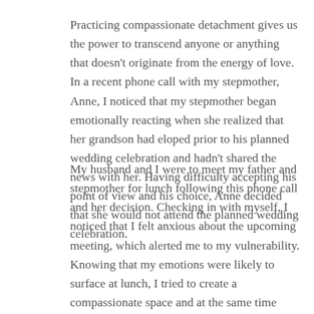Practicing compassionate detachment gives us the power to transcend anyone or anything that doesn't originate from the energy of love. In a recent phone call with my stepmother, Anne, I noticed that my stepmother began emotionally reacting when she realized that her grandson had eloped prior to his planned wedding celebration and hadn't shared the news with her. Having difficulty accepting his point of view and his choice, Anne decided that she would not attend the planned wedding celebration.
My husband and I were to meet my father and stepmother for lunch following this phone call and her decision. Checking in with myself, I noticed that I felt anxious about the upcoming meeting, which alerted me to my vulnerability. Knowing that my emotions were likely to surface at lunch, I tried to create a compassionate space and at the same time diffuse a potentially volatile situation by suggesting that we have